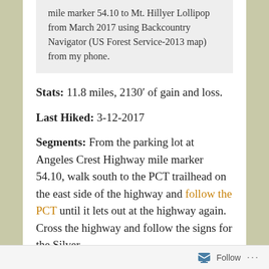mile marker 54.10 to Mt. Hillyer Lollipop from March 2017 using Backcountry Navigator (US Forest Service-2013 map) from my phone.
Stats: 11.8 miles, 2130′ of gain and loss.
Last Hiked: 3-12-2017
Segments: From the parking lot at Angeles Crest Highway mile marker 54.10, walk south to the PCT trailhead on the east side of the highway and follow the PCT until it lets out at the highway again. Cross the highway and follow the signs for the Silver
Follow ...